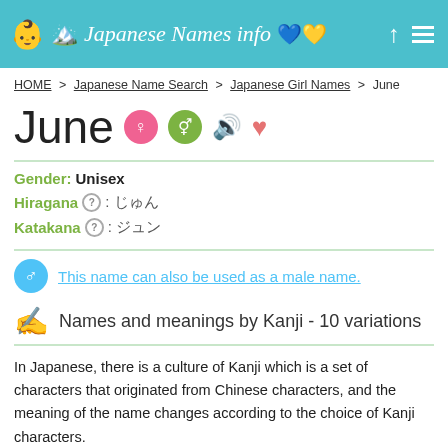Japanese Names info 🇺🇦
HOME > Japanese Name Search > Japanese Girl Names > June
June
Gender: Unisex
Hiragana (?): じゅん
Katakana (?): ジュン
This name can also be used as a male name.
Names and meanings by Kanji - 10 variations
In Japanese, there is a culture of Kanji which is a set of characters that originated from Chinese characters, and the meaning of the name changes according to the choice of Kanji characters. The more numerous variations of kanji, the more common name is in